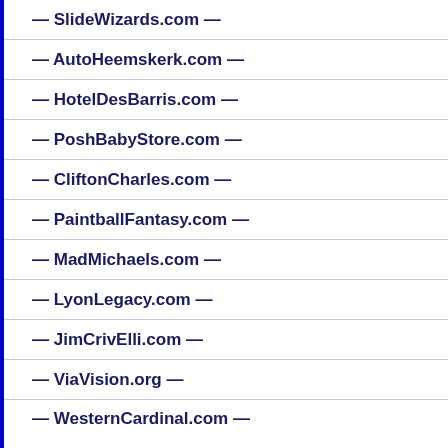— SlideWizards.com —
— AutoHeemskerk.com —
— HotelDesBarris.com —
— PoshBabyStore.com —
— CliftonCharles.com —
— PaintballFantasy.com —
— MadMichaels.com —
— LyonLegacy.com —
— JimCrivElli.com —
— ViaVision.org —
— WesternCardinal.com —